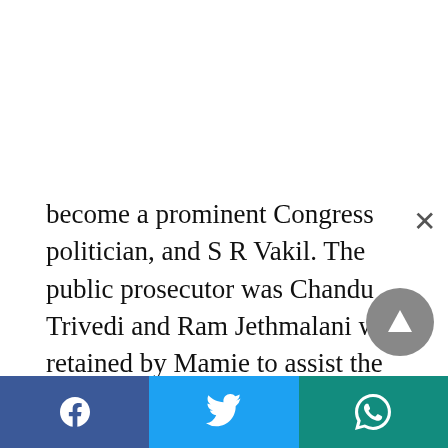become a prominent Congress politician, and S R Vakil. The public prosecutor was Chandu Trivedi and Ram Jethmalani was retained by Mamie to assist the prosecution. (Jethmalani's 'watching brief' meant that while he could advise the prosecution, he could not speak in court.) The chosen jury was cosmopolitan and comprised two Parsis, one Anglo-Indian, one Christian and five Hindus. While Jethmalani's role in the case remained of a consultative nature throughout, he would play a decisive role, both during the trial and